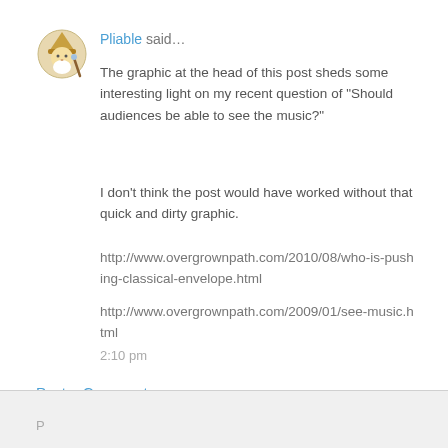[Figure (illustration): Small avatar icon of a cartoon wizard/gnome character with white beard]
Pliable said…
The graphic at the head of this post sheds some interesting light on my recent question of "Should audiences be able to see the music?"
I don't think the post would have worked without that quick and dirty graphic.
http://www.overgrownpath.com/2010/08/who-is-pushing-classical-envelope.html
http://www.overgrownpath.com/2009/01/see-music.html
2:10 pm
Post a Comment